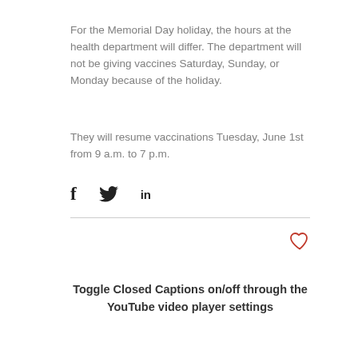For the Memorial Day holiday, the hours at the health department will differ. The department will not be giving vaccines Saturday, Sunday, or Monday because of the holiday.
They will resume vaccinations Tuesday, June 1st from 9 a.m. to 7 p.m.
[Figure (other): Social share icons: Facebook (f), Twitter (bird), LinkedIn (in)]
Toggle Closed Captions on/off through the YouTube video player settings